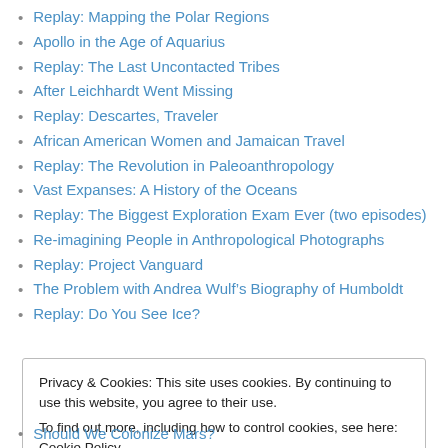Replay: Mapping the Polar Regions
Apollo in the Age of Aquarius
Replay: The Last Uncontacted Tribes
After Leichhardt Went Missing
Replay: Descartes, Traveler
African American Women and Jamaican Travel
Replay: The Revolution in Paleoanthropology
Vast Expanses: A History of the Oceans
Replay: The Biggest Exploration Exam Ever (two episodes)
Re-imagining People in Anthropological Photographs
Replay: Project Vanguard
The Problem with Andrea Wulf’s Biography of Humboldt
Replay: Do You See Ice?
Privacy & Cookies: This site uses cookies. By continuing to use this website, you agree to their use. To find out more, including how to control cookies, see here: Cookie Policy
Should We Colonize Mars?